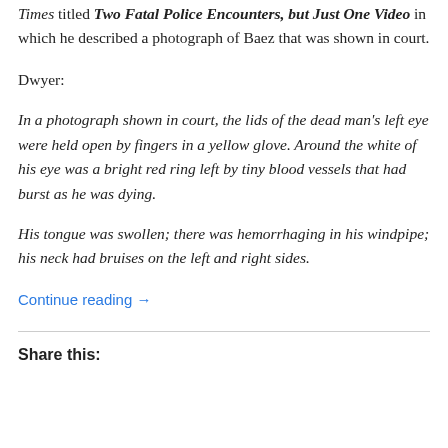Times titled Two Fatal Police Encounters, but Just One Video in which he described a photograph of Baez that was shown in court.
Dwyer:
In a photograph shown in court, the lids of the dead man's left eye were held open by fingers in a yellow glove. Around the white of his eye was a bright red ring left by tiny blood vessels that had burst as he was dying.
His tongue was swollen; there was hemorrhaging in his windpipe; his neck had bruises on the left and right sides.
Continue reading →
Share this: